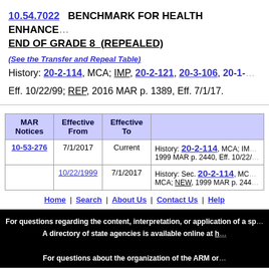10.54.7022 BENCHMARK FOR HEALTH ENHANCEMENT END OF GRADE 8 (REPEALED)
(See the Transfer and Repeal Table)
History: 20-2-114, MCA; IMP, 20-2-121, 20-3-106, 20-1-... Eff. 10/22/99; REP, 2016 MAR p. 1389, Eff. 7/1/17.
| MAR Notices | Effective From | Effective To |  |
| --- | --- | --- | --- |
| 10-53-276 | 7/1/2017 | Current | History: 20-2-114, MCA; IM... 1999 MAR p. 2440, Eff. 10/22/... |
|  | 10/22/1999 | 7/1/2017 | History: Sec. 20-2-114, MC... MCA; NEW, 1999 MAR p. 244... |
Home | Search | About Us | Contact Us | Help
For questions regarding the content, interpretation, or application of a sp... A directory of state agencies is available online at h...
For questions about the organization of the ARM or...